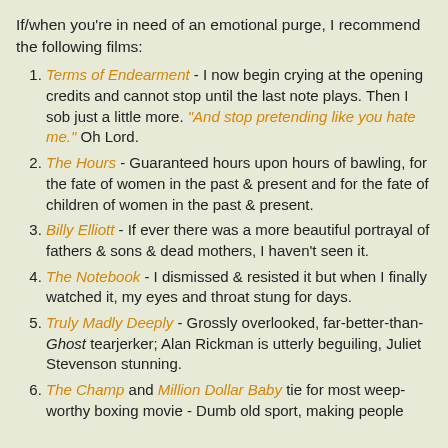If/when you're in need of an emotional purge, I recommend the following films:
Terms of Endearment - I now begin crying at the opening credits and cannot stop until the last note plays. Then I sob just a little more. "And stop pretending like you hate me." Oh Lord.
The Hours - Guaranteed hours upon hours of bawling, for the fate of women in the past & present and for the fate of children of women in the past & present.
Billy Elliott - If ever there was a more beautiful portrayal of fathers & sons & dead mothers, I haven't seen it.
The Notebook - I dismissed & resisted it but when I finally watched it, my eyes and throat stung for days.
Truly Madly Deeply - Grossly overlooked, far-better-than-Ghost tearjerker; Alan Rickman is utterly beguiling, Juliet Stevenson stunning.
The Champ and Million Dollar Baby tie for most weep-worthy boxing movie - Dumb old sport, making people